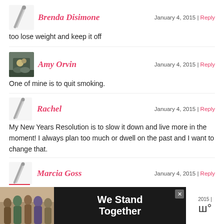Brenda Disimone
January 4, 2015 | Reply
too lose weight and keep it off
[Figure (photo): Avatar image for Amy Orvin - small photo of person]
Amy Orvin
January 4, 2015 | Reply
One of mine is to quit smoking.
Rachel
January 4, 2015 | Reply
My New Years Resolution is to slow it down and live more in the moment! I always plan too much or dwell on the past and I want to change that.
Marcia Goss
January 4, 2015 | Reply
One of my resolutions is to get fit by walking more.
[Figure (photo): We Stand Together advertisement banner with group of people]